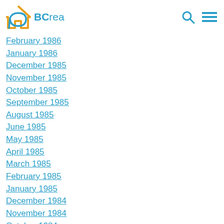BCrea - navigation header with logo, search and menu icons
February 1986
January 1986
December 1985
November 1985
October 1985
September 1985
August 1985
June 1985
May 1985
April 1985
March 1985
February 1985
January 1985
December 1984
November 1984
October 1984
September 1984
August 1984